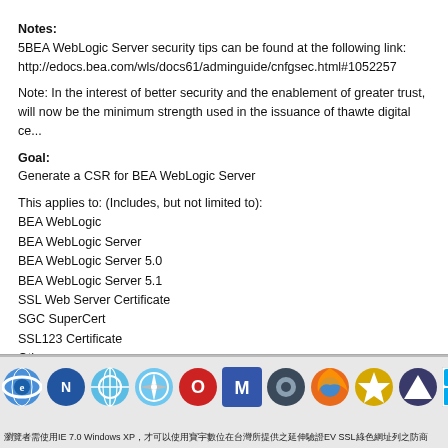Notes:
5BEA WebLogic Server security tips can be found at the following link:
http://edocs.bea.com/wls/docs61/adminguide/cnfgsec.html#1052257
Note: In the interest of better security and the enablement of greater trust, will now be the minimum strength used in the issuance of thawte digital ce...
Goal:
Generate a CSR for BEA WebLogic Server
This applies to: (Includes, but not limited to):
BEA WebLogic
BEA WebLogic Server
BEA WebLogic Server 5.0
BEA WebLogic Server 5.1
SSL Web Server Certificate
SGC SuperCert
SSL123 Certificate
Other
[Figure (infographic): Footer bar with browser/platform icons (IE, Netscape, globe/Safari, Opera, Macromedia, Steam, Firefox, star icon, triangle icon, Windows Mobile, PlayStation, browser icon) and Chinese text below]
瀏覽者需使用IE 7.0 Windows XP，才可以使用寶宇數位在台灣所提供之延伸驗證EV SSL綠色網址列之防商